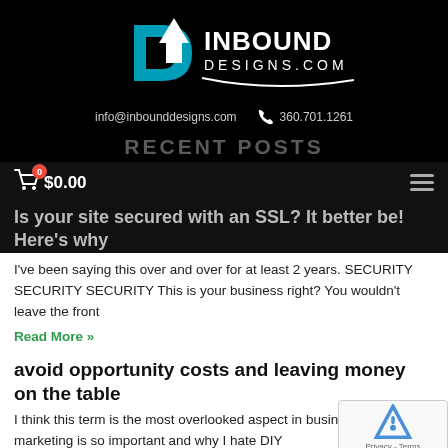[Figure (logo): Inbound Designs logo with cyan arrow/D icon and white INBOUND DESIGNS.COM text on black background]
info@inbounddesigns.com    📞 360.701.1261
RECENT POSTS
$0.00
Is your site secured with an SSL? It better be! Here's why
I've been saying this over and over for at least 2 years. SECURITY SECURITY SECURITY This is your business right? You wouldn't leave the front
Read More »
avoid opportunity costs and leaving money on the table
I think this term is the most overlooked aspect in business. me is why marketing is so important and why I hate DIY